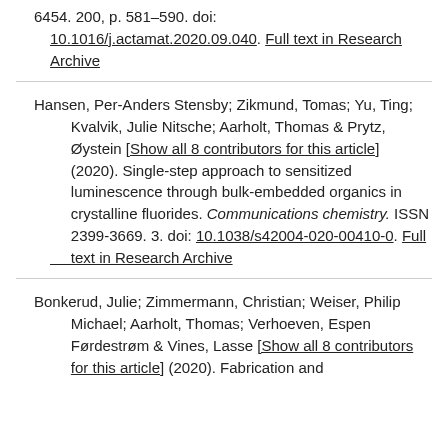6454. 200, p. 581-590. doi: 10.1016/j.actamat.2020.09.040. Full text in Research Archive
Hansen, Per-Anders Stensby; Zikmund, Tomas; Yu, Ting; Kvalvik, Julie Nitsche; Aarholt, Thomas & Prytz, Øystein [Show all 8 contributors for this article] (2020). Single-step approach to sensitized luminescence through bulk-embedded organics in crystalline fluorides. Communications chemistry. ISSN 2399-3669. 3. doi: 10.1038/s42004-020-00410-0. Full text in Research Archive
Bonkerud, Julie; Zimmermann, Christian; Weiser, Philip Michael; Aarholt, Thomas; Verhoeven, Espen Førdestrøm & Vines, Lasse [Show all 8 contributors for this article] (2020). Fabrication and